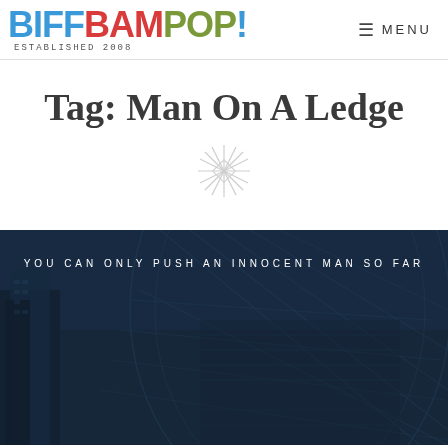BiffBamPop! ESTABLISHED 2008 MENU
Tag: Man On A Ledge
[Figure (illustration): Decorative star/asterisk divider symbol in light gray]
[Figure (photo): Movie promotional banner image for 'Man On A Ledge' showing dark blue-tinted cityscape with skyscrapers and glass building, with tagline 'YOU CAN ONLY PUSH AN INNOCENT MAN SO FAR']